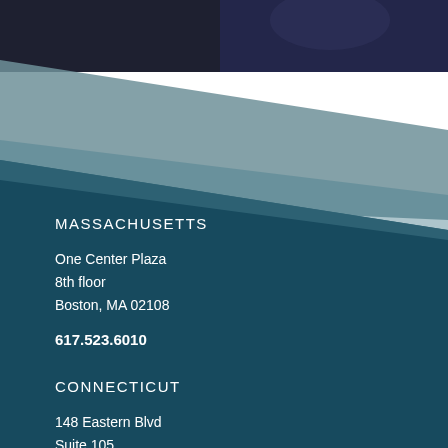[Figure (photo): Partial photo of a person in dark clothing against dark background, visible at top of page]
MASSACHUSETTS
One Center Plaza
8th floor
Boston, MA 02108
617.523.6010
CONNECTICUT
148 Eastern Blvd
Suite 105
Glastonbury, CT 06033